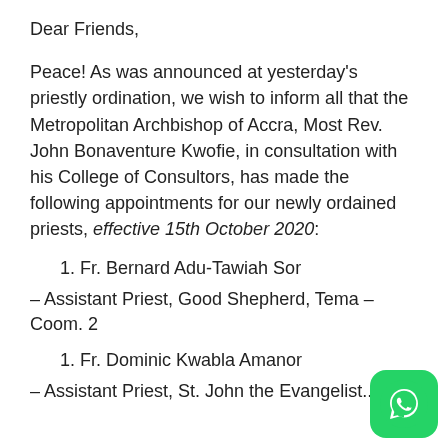Dear Friends,
Peace! As was announced at yesterday's priestly ordination, we wish to inform all that the Metropolitan Archbishop of Accra, Most Rev. John Bonaventure Kwofie, in consultation with his College of Consultors, has made the following appointments for our newly ordained priests, effective 15th October 2020:
1. Fr. Bernard Adu-Tawiah Sor
– Assistant Priest, Good Shepherd, Tema – Coom. 2
1. Fr. Dominic Kwabla Amanor
– Assistant Priest, St. John the Evangelist...